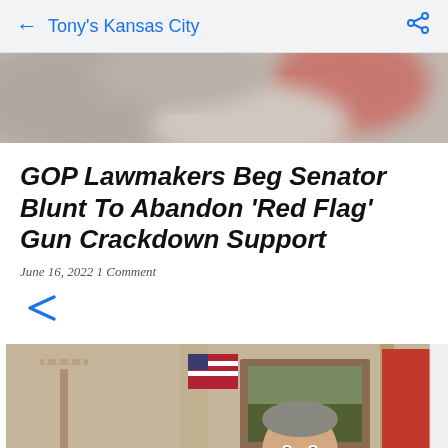Tony's Kansas City
[Figure (photo): Blurred background hero image with warm tones]
GOP Lawmakers Beg Senator Blunt To Abandon 'Red Flag' Gun Crackdown Support
June 16, 2022 1 Comment
[Figure (photo): Share icon (less-than symbol style share button)]
[Figure (photo): Photo of a smiling man in a suit standing between an American flag and a red flag, in an office with a painting on the wall and a candelabra visible on the left]